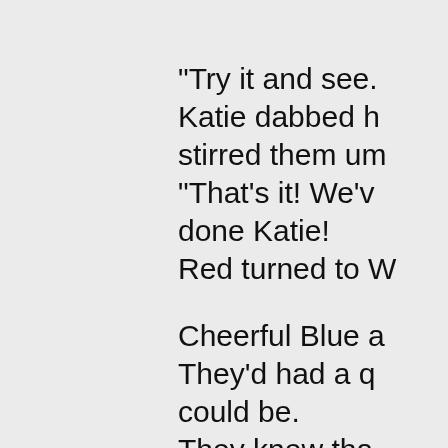"Try it and see. Katie dabbed h stirred them um "That's it! We'v done Katie! Red turned to W Cheerful Blue a They'd had a q could be. They knew tha For Katie's flow